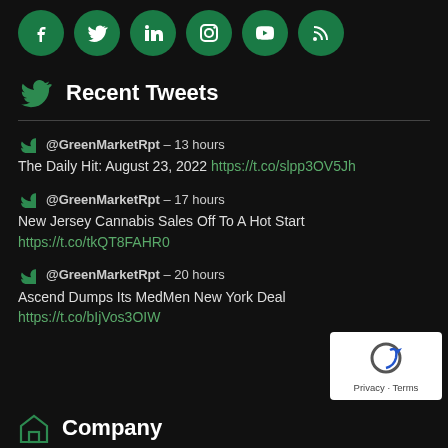[Figure (illustration): Row of six social media icon circles in green: Facebook, Twitter, LinkedIn, Instagram, YouTube, RSS]
Recent Tweets
@GreenMarketRpt – 13 hours
The Daily Hit: August 23, 2022 https://t.co/slpp3OV5Jh
@GreenMarketRpt – 17 hours
New Jersey Cannabis Sales Off To A Hot Start
https://t.co/tkQT8FAHR0
@GreenMarketRpt – 20 hours
Ascend Dumps Its MedMen New York Deal https://t.co/bIjVos3OIW
[Figure (logo): Google privacy badge with circular arrow logo, Privacy - Terms text]
Company